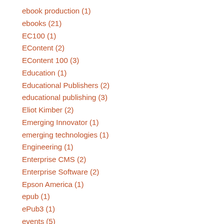ebook production (1)
ebooks (21)
EC100 (1)
EContent (2)
EContent 100 (3)
Education (1)
Educational Publishers (2)
educational publishing (3)
Eliot Kimber (2)
Emerging Innovator (1)
emerging technologies (1)
Engineering (1)
Enterprise CMS (2)
Enterprise Software (2)
Epson America (1)
epub (1)
ePub3 (1)
events (5)